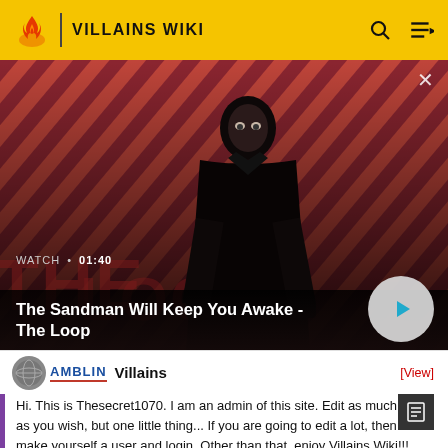VILLAINS WIKI
[Figure (screenshot): Video thumbnail showing a dark-cloaked figure with a raven on shoulder against a red diagonal-striped background, for 'The Sandman Will Keep You Awake - The Loop', WATCH • 01:40]
The Sandman Will Keep You Awake - The Loop
AMBLIN Villains
Hi. This is Thesecret1070. I am an admin of this site. Edit as much as you wish, but one little thing... If you are going to edit a lot, then make yourself a user and login. Other than that, enjoy Villains Wiki!!!